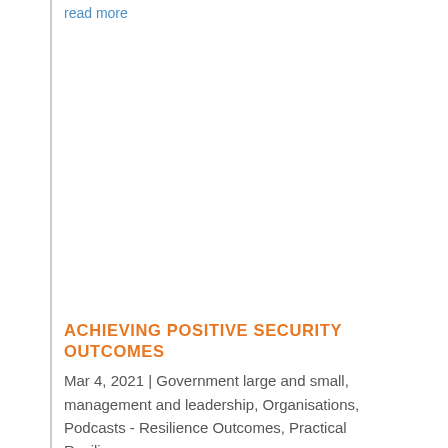read more
ACHIEVING POSITIVE SECURITY OUTCOMES
Mar 4, 2021 | Government large and small, management and leadership, Organisations, Podcasts - Resilience Outcomes, Practical Resilience